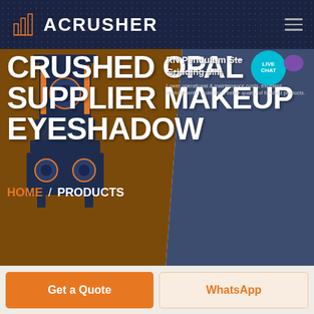ACRUSHER
CRUSHED OPAL SUPPLIER MAKEUP EYESHADOW
RN Pendulum Grinding Mill
Lower operational & maintenance costs, excellent environmental protection, better quality of finished products.
HOME / PRODUCTS
[Figure (screenshot): Live chat bubble button with teal circular badge labeled LIVE CHAT and a purple speech bubble icon]
[Figure (photo): Industrial grinding mill machine in dark blue and orange colors]
Get a Quote
WhatsApp